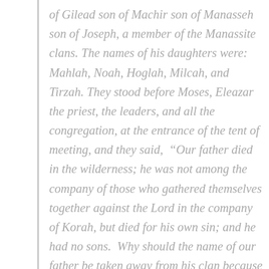of Gilead son of Machir son of Manasseh son of Joseph, a member of the Manassite clans. The names of his daughters were: Mahlah, Noah, Hoglah, Milcah, and Tirzah. They stood before Moses, Eleazar the priest, the leaders, and all the congregation, at the entrance of the tent of meeting, and they said,  “Our father died in the wilderness; he was not among the company of those who gathered themselves together against the Lord in the company of Korah, but died for his own sin; and he had no sons.  Why should the name of our father be taken away from his clan because he had no son? Give to us a possession among our father’s brothers.”